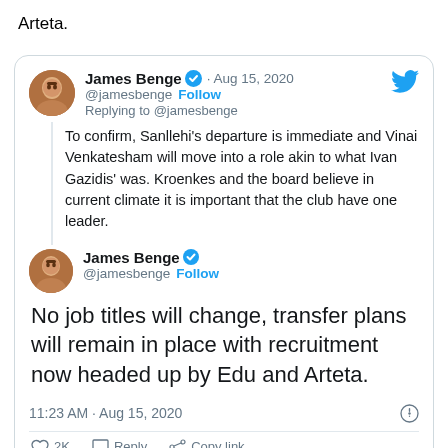Arteta.
[Figure (screenshot): Embedded tweet by James Benge (@jamesbenge) dated Aug 15, 2020, replying to @jamesbenge. Tweet text: 'To confirm, Sanllehi's departure is immediate and Vinai Venkatesham will move into a role akin to what Ivan Gazidis' was. Kroenkes and the board believe in current climate it is important that the club have one leader.' Followed by second tweet header: James Benge @jamesbenge · Follow. Main tweet text: 'No job titles will change, transfer plans will remain in place with recruitment now headed up by Edu and Arteta.' Timestamp: 11:23 AM · Aug 15, 2020. Actions: heart 2K, Reply, Copy link.]